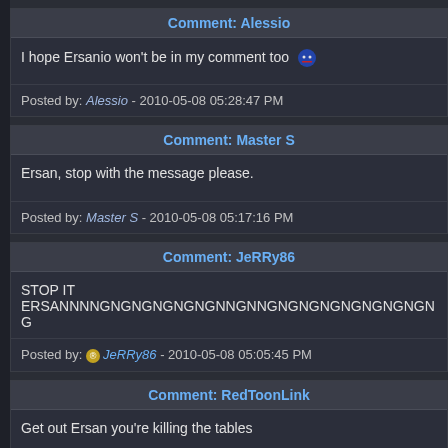Comment: Alessio
I hope Ersanio won't be in my comment too 😶
Posted by: Alessio - 2010-05-08 05:28:47 PM
Comment: Master S
Ersan, stop with the message please.
Posted by: Master S - 2010-05-08 05:17:16 PM
Comment: JeRRy86
STOP IT
ERSANNNNGNGNGNGNGNGNNGNNGNGNGNGNGNGNGNGNGNG
Posted by: JeRRy86 - 2010-05-08 05:05:45 PM
Comment: RedToonLink
Get out Ersan you're killing the tables
Posted by: RedToonLink - 2010-05-08 05:02:13 PM
Comment: Sonydon